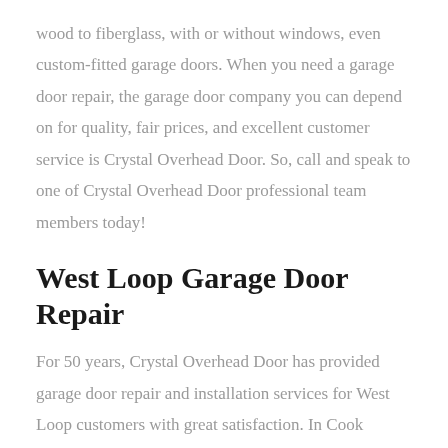wood to fiberglass, with or without windows, even custom-fitted garage doors. When you need a garage door repair, the garage door company you can depend on for quality, fair prices, and excellent customer service is Crystal Overhead Door. So, call and speak to one of Crystal Overhead Door professional team members today!
West Loop Garage Door Repair
For 50 years, Crystal Overhead Door has provided garage door repair and installation services for West Loop customers with great satisfaction. In Cook County, IL, one of the best places to live is in the West Loop